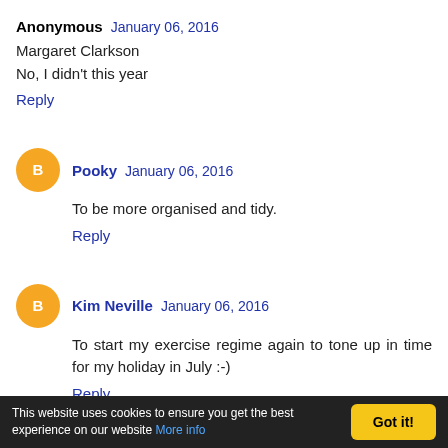Anonymous  January 06, 2016
Margaret Clarkson
No, I didn't this year
Reply
Pooky  January 06, 2016
To be more organised and tidy.
Reply
Kim Neville  January 06, 2016
To start my exercise regime again to tone up in time for my holiday in July :-)
Reply
This website uses cookies to ensure you get the best experience on our website  More info   Got it!